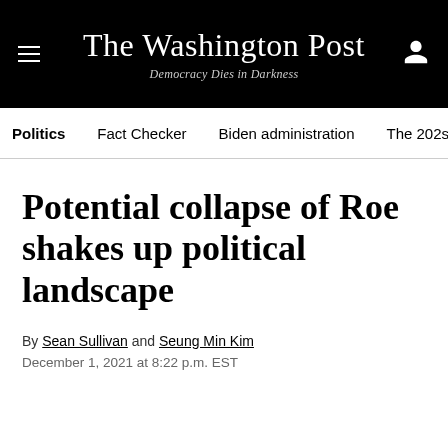The Washington Post — Democracy Dies in Darkness
Politics | Fact Checker | Biden administration | The 202s
Potential collapse of Roe shakes up political landscape
By Sean Sullivan and Seung Min Kim
December 1, 2021 at 8:22 p.m. EST